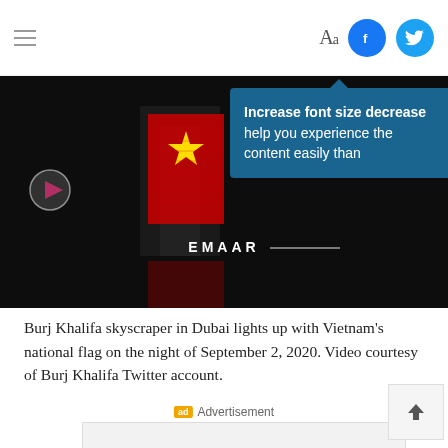Aa [Facebook] [Twitter]
[Figure (photo): Video frame showing Burj Khalifa skyscraper lit up with Vietnam's national flag (red background, yellow star) at night, with EMAAR sign visible. A play button overlay is on the left. A teal tooltip box on the right reads: 'Increase font size decrease help you experience the content easily than']
Burj Khalifa skyscraper in Dubai lights up with Vietnam's national flag on the night of September 2, 2020. Video courtesy of Burj Khalifa Twitter account.
ad Advertisement
[Figure (logo): VNExpress advertisement banner with logo and sports card graphic labeled THE THAO]